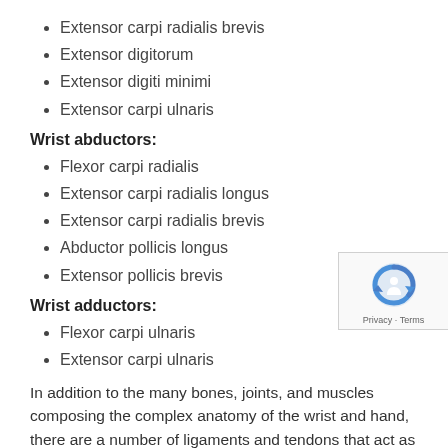Extensor carpi radialis brevis
Extensor digitorum
Extensor digiti minimi
Extensor carpi ulnaris
Wrist abductors:
Flexor carpi radialis
Extensor carpi radialis longus
Extensor carpi radialis brevis
Abductor pollicis longus
Extensor pollicis brevis
Wrist adductors:
Flexor carpi ulnaris
Extensor carpi ulnaris
In addition to the many bones, joints, and muscles composing the complex anatomy of the wrist and hand, there are a number of ligaments and tendons that act as